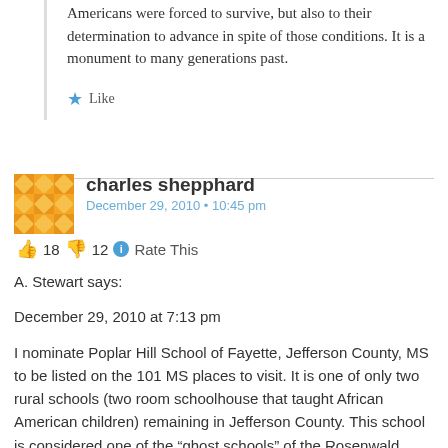Americans were forced to survive, but also to their determination to advance in spite of those conditions. It is a monument to many generations past.
Like
charles shepphard
December 29, 2010 • 10:45 pm
👍 18 👎 12 ℹ Rate This
A. Stewart says:
December 29, 2010 at 7:13 pm
I nominate Poplar Hill School of Fayette, Jefferson County, MS to be listed on the 101 MS places to visit. It is one of only two rural schools (two room schoolhouse that taught African American children) remaining in Jefferson County. This school is considered one of the "ghost schools" of the Rosenwald school building program. In an article written in 2010 by Ms. Jennifer Baughn of MDAH: "In addition to the